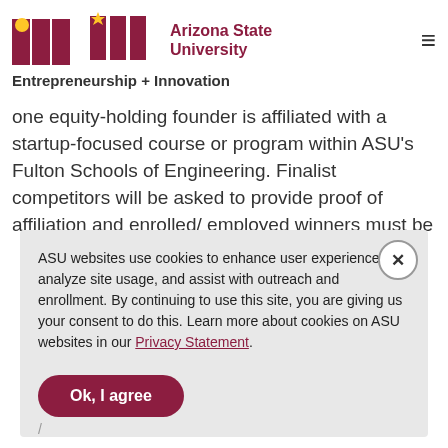[Figure (logo): ASU Arizona State University logo with maroon block letters and sun icon]
Entrepreneurship + Innovation
one equity-holding founder is affiliated with a startup-focused course or program within ASU's Fulton Schools of Engineering. Finalist competitors will be asked to provide proof of affiliation and enrolled/ employed winners must be
ASU websites use cookies to enhance user experience, analyze site usage, and assist with outreach and enrollment. By continuing to use this site, you are giving us your consent to do this. Learn more about cookies on ASU websites in our Privacy Statement.
Ok, I agree